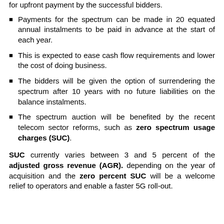for upfront payment by the successful bidders.
Payments for the spectrum can be made in 20 equated annual instalments to be paid in advance at the start of each year.
This is expected to ease cash flow requirements and lower the cost of doing business.
The bidders will be given the option of surrendering the spectrum after 10 years with no future liabilities on the balance instalments.
The spectrum auction will be benefited by the recent telecom sector reforms, such as zero spectrum usage charges (SUC).
SUC currently varies between 3 and 5 percent of the adjusted gross revenue (AGR). depending on the year of acquisition and the zero percent SUC will be a welcome relief to operators and enable a faster 5G roll-out.